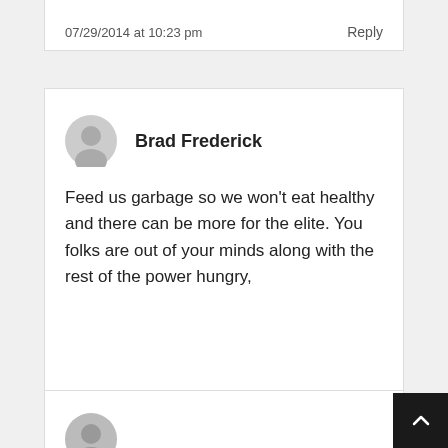07/29/2014 at 10:23 pm
Reply
Brad Frederick
Feed us garbage so we won't eat healthy and there can be more for the elite. You folks are out of your minds along with the rest of the power hungry,
07/29/2014 at 10:34 pm
Reply